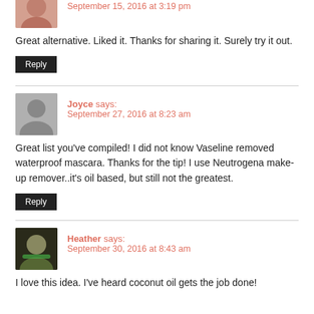September 15, 2016 at 3:19 pm
Great alternative. Liked it. Thanks for sharing it. Surely try it out.
Reply
Joyce says:
September 27, 2016 at 8:23 am
Great list you've compiled! I did not know Vaseline removed waterproof mascara. Thanks for the tip! I use Neutrogena make-up remover..it's oil based, but still not the greatest.
Reply
Heather says:
September 30, 2016 at 8:43 am
I love this idea. I've heard coconut oil gets the job done!